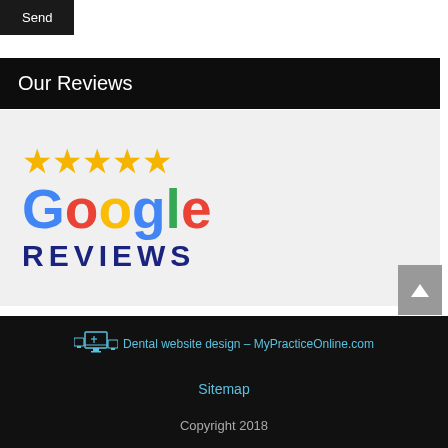Send
Our Reviews
[Figure (logo): Five gold stars above the Google logo in multicolor, with REVIEWS in dark navy blue bold letters beneath]
Dental website design – MyPracticeOnline.com
Sitemap
Copyright 2018